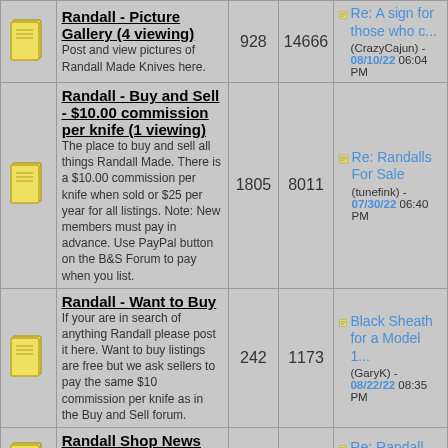| Icon | Forum | Posts | Threads | Last Post |
| --- | --- | --- | --- | --- |
| [icon] | Randall - Picture Gallery (4 viewing)
Post and view pictures of Randall Made Knives here. | 928 | 14666 | Re: A sign for those who c...
(CrazyCajun) - 08/10/22 06:04 PM |
| [icon] | Randall - Buy and Sell - $10.00 commission per knife (1 viewing)
The place to buy and sell all things Randall Made. There is a $10.00 commission per knife when sold or $25 per year for all listings. Note: New members must pay in advance. Use PayPal button on the B&S Forum to pay when you list. | 1805 | 8011 | Re: Randalls For Sale
(tunefink) - 07/30/22 06:40 PM |
| [icon] | Randall - Want to Buy
If your are in search of anything Randall please post it here. Want to buy listings are free but we ask sellers to pay the same $10 commission per knife as in the Buy and Sell forum. | 242 | 1173 | Black Sheath for a Model 1...
(GaryK) - 08/22/22 08:35 PM |
| [icon] | Randall Shop News
Watch here for shop news and announcements. Got any shop questions? | 120 | 1519 | Re: Randall Knives Newest... |